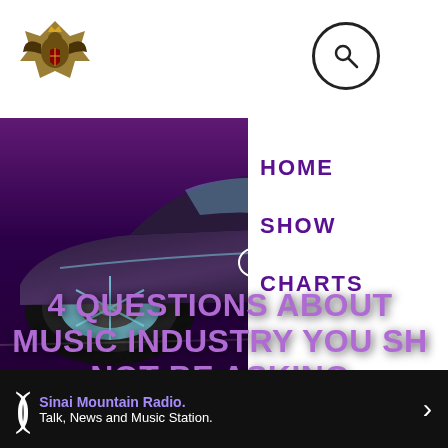[Figure (screenshot): Website screenshot of Sinai Mountain Radio showing a navigation menu open on the right side with HOME, SHOW, CHARTS items, a hero banner with a sports car image, an EVENTS pill badge, headline '4 QUESTIONS ABOUT MUSIC INDUSTRY YOU SHOULD NOT BE ASKING', date MARCH 27, 2020, view count 16, like count 5, and a radio player bar at the bottom.]
Sinai Mountain Radio logo and search icon
4 QUESTIONS ABOUT MUSIC INDUSTRY YOU SHOULD NOT BE ASKING
EVENTS
MARCH 27, 2020   16   5
HOME
SHOW
CHARTS
Sinai Mountain Radio. Talk, News and Music Station.